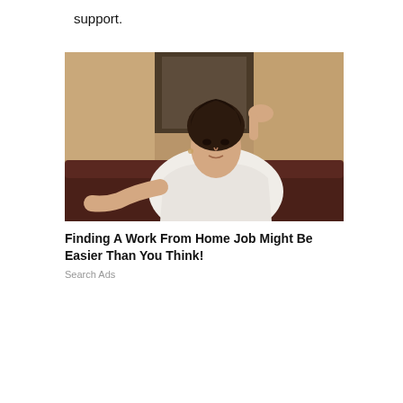support.
[Figure (photo): A young woman with short dark hair wearing a white long-sleeve top, sitting on a dark leather sofa with one hand raised to her head, looking at the camera.]
Finding A Work From Home Job Might Be Easier Than You Think!
Search Ads